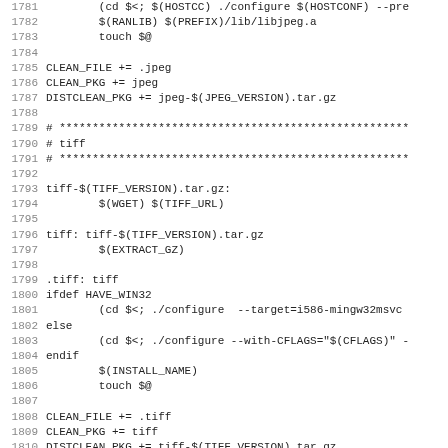Makefile source code lines 1781-1812, showing build rules for jpeg and tiff libraries including CLEAN_FILE, CLEAN_PKG, DISTCLEAN_PKG assignments and tiff build targets with ifdef/else/endif conditionals